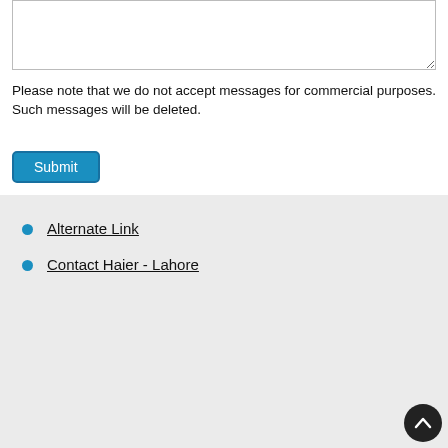Please note that we do not accept messages for commercial purposes. Such messages will be deleted.
Alternate Link
Contact Haier - Lahore
[Figure (screenshot): Social media icons: Facebook (blue), Instagram (black), Twitter (blue)]
[Figure (screenshot): YouTube video thumbnail: Haier Dc Inverter Ac Ampere Testin... with Urdu text and Haier AC branding]